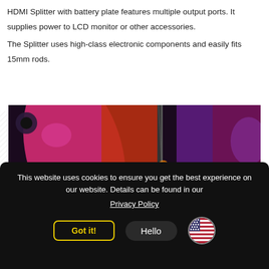HDMI Splitter with battery plate features multiple output ports. It supplies power to LCD monitor or other accessories.

The Splitter uses high-class electronic components and easily fits 15mm rods.
[Figure (photo): Close-up photo of colorful audio/video equipment with cables and metal rods under pink and purple stage lighting]
This website uses cookies to ensure you get the best experience on our website. Details can be found in our
Privacy Policy
Got it!
Hello